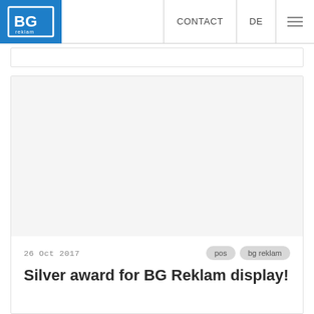BG Reklam logo | CONTACT | DE | menu
[Figure (screenshot): Large empty/white image placeholder inside article card]
26 Oct 2017
pos   bg reklam
Silver award for BG Reklam display!